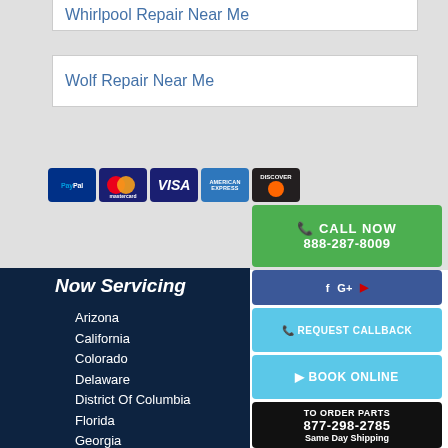Whirlpool Repair Near Me
Wolf Repair Near Me
[Figure (other): Payment method icons: PayPal, Mastercard, Visa, American Express, Discover]
CALL NOW 888-287-8009
REQUEST CALLBACK
BOOK ONLINE
TO ORDER PARTS 877-298-2785 Same Day Shipping
Now Servicing
Arizona
California
Colorado
Delaware
District Of Columbia
Florida
Georgia
Hawaii
Illinois